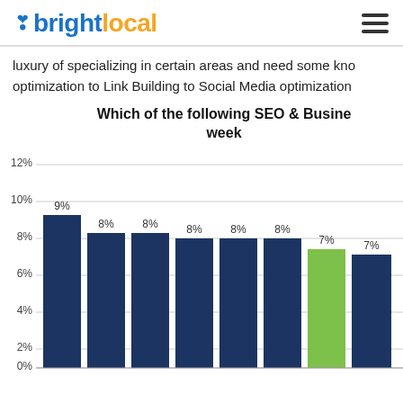brightlocal
luxury of specializing in certain areas and need some kno... optimization to Link Building to Social Media optimization...
Which of the following SEO & Busine... week...
[Figure (bar-chart): Which of the following SEO & Business topics do you read about each week?]